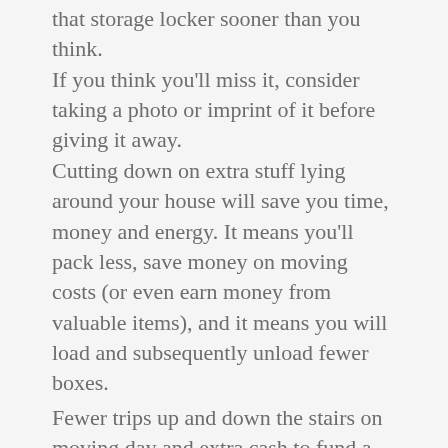that storage locker sooner than you think. If you think you'll miss it, consider taking a photo or imprint of it before giving it away. Cutting down on extra stuff lying around your house will save you time, money and energy. It means you'll pack less, save money on moving costs (or even earn money from valuable items), and it means you will load and subsequently unload fewer boxes.
Fewer trips up and down the stairs on moving day and extra cash to fund a pizza feast in the new place? Sign us up.
Don't Buy More Food Two Weeks Before Moving
IMAGE BY: PIXABAY
Stop buying food at least a week before you move. You may even stop earlier if you're the type that buys in bulk and always has a full pantry.